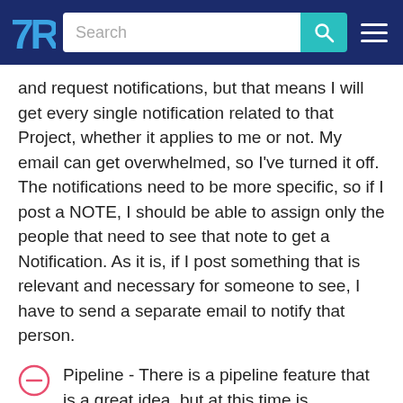[Figure (screenshot): Navigation bar with TrustRadius logo, search bar with teal search button, and hamburger menu on dark blue background]
and request notifications, but that means I will get every single notification related to that Project, whether it applies to me or not. My email can get overwhelmed, so I've turned it off. The notifications need to be more specific, so if I post a NOTE, I should be able to assign only the people that need to see that note to get a Notification. As it is, if I post something that is relevant and necessary for someone to see, I have to send a separate email to notify that person.
Pipeline - There is a pipeline feature that is a great idea, but at this time is completely linear and non-flexible. It assumes that B cannot be completed until A is done. When your project has several things going on simultaneously, there needs to be greater flexibility in managing it.